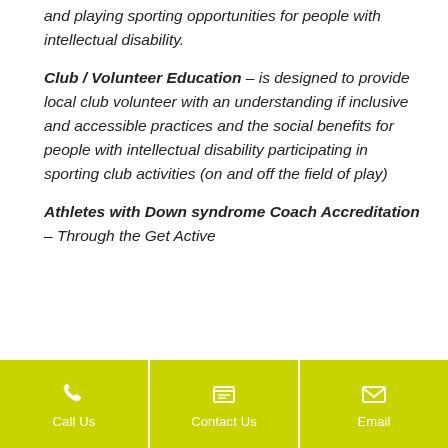and playing sporting opportunities for people with intellectual disability.
Club / Volunteer Education – is designed to provide local club volunteer with an understanding if inclusive and accessible practices and the social benefits for people with intellectual disability participating in sporting club activities (on and off the field of play)
Athletes with Down syndrome Coach Accreditation – Through the Get Active
Call Us | Contact Us | Email